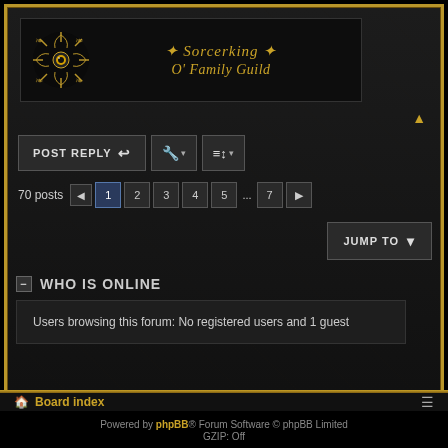[Figure (illustration): Forum banner image for Sorcerking O' Family Guild with dark background, ornate sun/flower symbol on left, and gold decorative text]
* Sorcerking * O' Family Guild
[Figure (screenshot): POST REPLY button with reply arrow icon, wrench/tool button with dropdown arrow, sort/filter button with dropdown arrow]
70 posts  1 2 3 4 5 ... 7 >
JUMP TO
WHO IS ONLINE
Users browsing this forum: No registered users and 1 guest
Board index
Powered by phpBB® Forum Software © phpBB Limited GZIP: Off